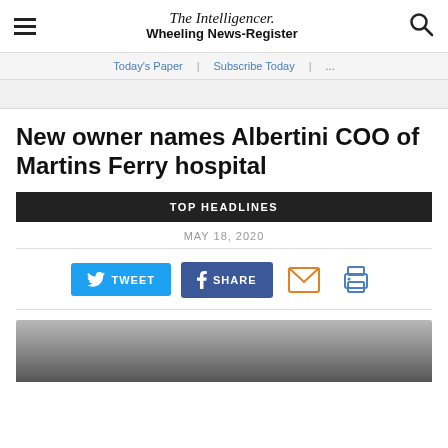The Intelligencer. Wheeling News-Register
Today's Paper | Subscribe Today | ...
New owner names Albertini COO of Martins Ferry hospital
TOP HEADLINES
MAY 18, 2020
[Figure (screenshot): Social sharing buttons: Tweet, Share, Email, Print]
[Figure (photo): Partially visible photo of a person, cropped at bottom of page]